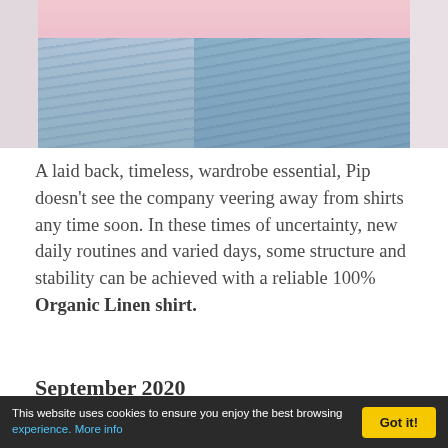[Figure (photo): Partial view of a person wearing a pink shirt and light blue denim jeans, cropped at the torso/lower body area.]
A laid back, timeless, wardrobe essential, Pip doesn't see the company veering away from shirts any time soon. In these times of uncertainty, new daily routines and varied days, some structure and stability can be achieved with a reliable 100% Organic Linen shirt.
September 2020
This website uses cookies to ensure you enjoy the best browsing experience. More info